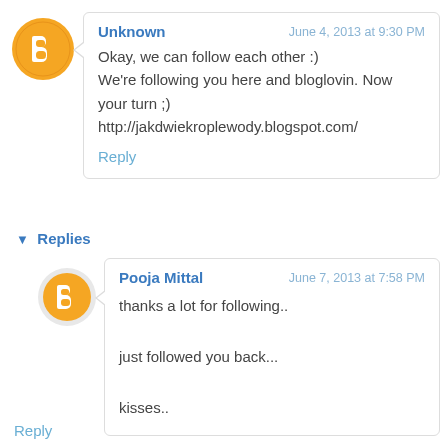[Figure (logo): Blogger orange circle icon with white B symbol]
Unknown
June 4, 2013 at 9:30 PM
Okay, we can follow each other :)
We're following you here and bloglovin. Now your turn ;)
http://jakdwiekroplewody.blogspot.com/
Reply
▼ Replies
[Figure (logo): Blogger orange circle icon with white B symbol]
Pooja Mittal
June 7, 2013 at 7:58 PM
thanks a lot for following..

just followed you back...

kisses..
Reply